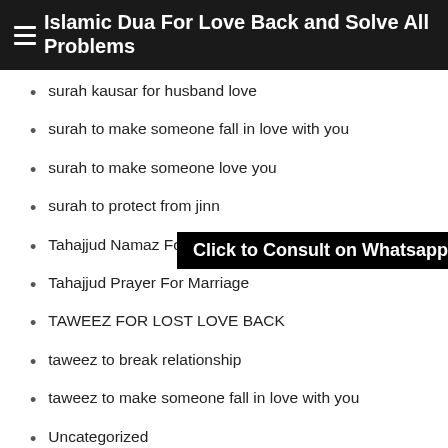Islamic Dua For Love Back and Solve All Problems
surah kausar for husband love
surah to make someone fall in love with you
surah to make someone love you
surah to protect from jinn
Tahajjud Namaz For Love Marriage
Tahajjud Prayer For Marriage
TAWEEZ FOR LOST LOVE BACK
taweez to break relationship
taweez to make someone fall in love with you
Uncategorized